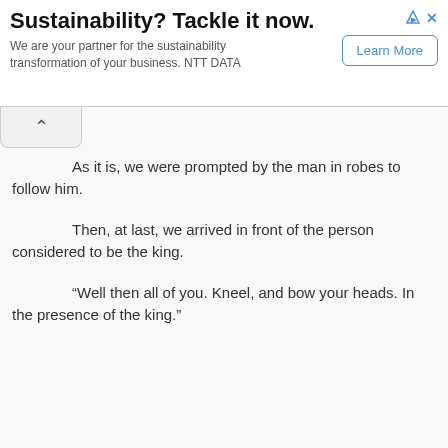[Figure (screenshot): Advertisement banner: 'Sustainability? Tackle it now.' with subtitle 'We are your partner for the sustainability transformation of your business. NTT DATA' and a 'Learn More' button on the right.]
o calmly.
As it is, we were prompted by the man in robes to follow him.
Then, at last, we arrived in front of the person considered to be the king.
“Well then all of you. Kneel, and bow your heads. In the presence of the king.”